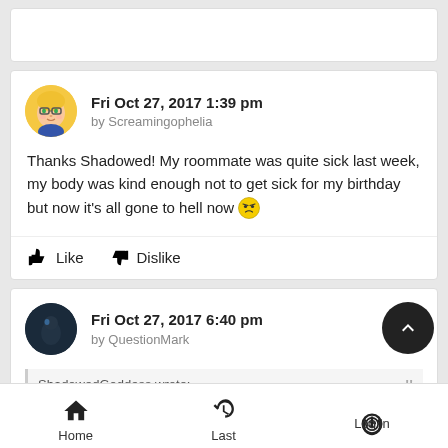[Figure (screenshot): Truncated white card at top of page, partially visible.]
Fri Oct 27, 2017 1:39 pm
by Screamingophelia
Thanks Shadowed! My roommate was quite sick last week, my body was kind enough not to get sick for my birthday but now it's all gone to hell now 😑
Like   Dislike
Fri Oct 27, 2017 6:40 pm
by QuestionMark
ShadowedGoddess wrote: